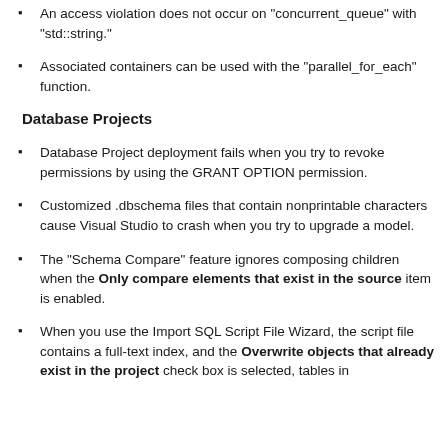An access violation does not occur on "concurrent_queue" with "std::string."
Associated containers can be used with the "parallel_for_each" function.
Database Projects
Database Project deployment fails when you try to revoke permissions by using the GRANT OPTION permission.
Customized .dbschema files that contain nonprintable characters cause Visual Studio to crash when you try to upgrade a model.
The "Schema Compare" feature ignores composing children when the Only compare elements that exist in the source item is enabled.
When you use the Import SQL Script File Wizard, the script file contains a full-text index, and the Overwrite objects that already exist in the project check box is selected, tables in